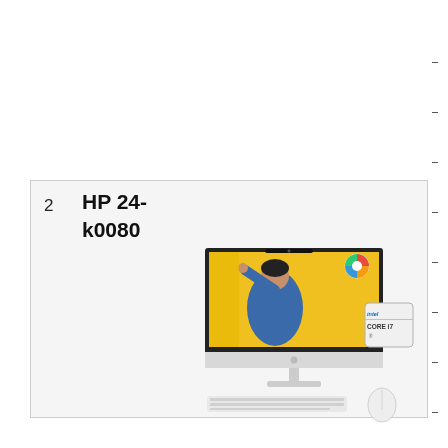2
HP 24-k0080
[Figure (photo): HP 24-k0080 All-in-One desktop computer with Intel Core i7 badge, white keyboard and mouse, shown with a person in a denim jacket on the screen against a yellow background]